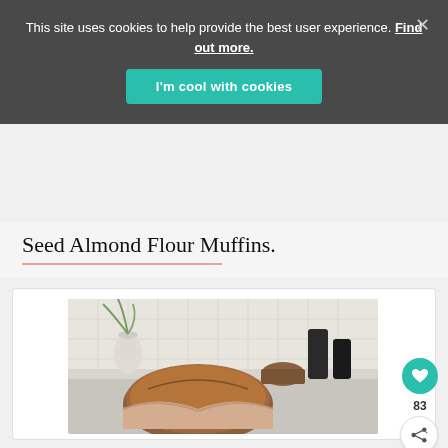This site uses cookies to help provide the best user experience. Find out more.
I'm cool with cookies
Seed Almond Flour Muffins.
[Figure (photo): Hands holding a freshly baked round loaf of bread in a kitchen setting with white hexagonal tile backsplash, a white vase with greenery, and various kitchen items in background. A heart/like button (teal circle with white heart, count 83) and a share button are visible on the right side.]
83